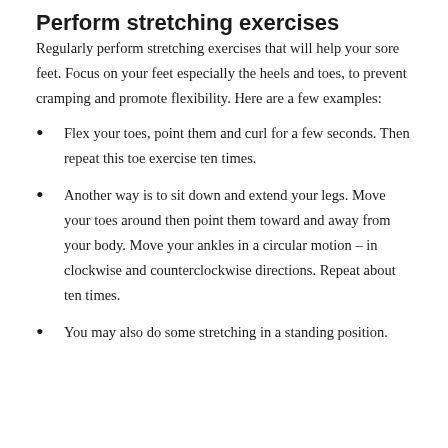Perform stretching exercises
Regularly perform stretching exercises that will help your sore feet. Focus on your feet especially the heels and toes, to prevent cramping and promote flexibility. Here are a few examples:
Flex your toes, point them and curl for a few seconds. Then repeat this toe exercise ten times.
Another way is to sit down and extend your legs. Move your toes around then point them toward and away from your body. Move your ankles in a circular motion – in clockwise and counterclockwise directions. Repeat about ten times.
You may also do some stretching in a standing position.